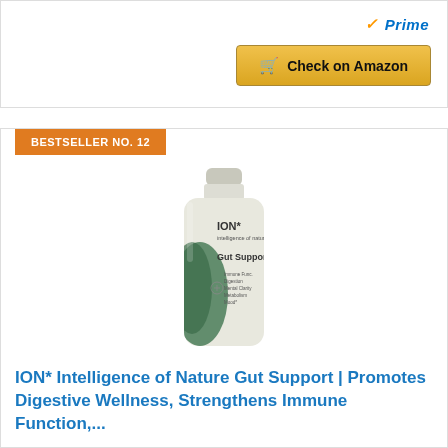[Figure (logo): Amazon Prime badge with checkmark and 'Prime' text in blue/orange]
Check on Amazon
BESTSELLER NO. 12
[Figure (photo): ION* Intelligence of Nature Gut Support bottle product photo]
ION* Intelligence of Nature Gut Support | Promotes Digestive Wellness, Strengthens Immune Function,...
WHOLE HEALTH FOR THE WHOLE FAMILY –